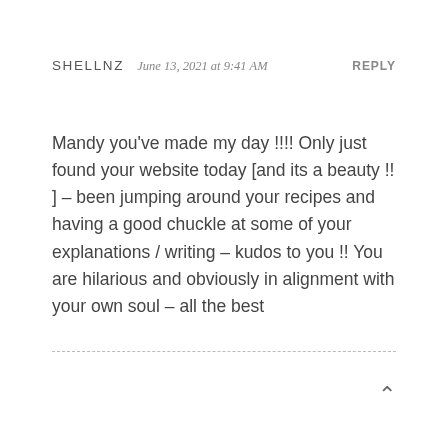SHELLNZ  June 13, 2021 at 9:41 AM  REPLY
Mandy you've made my day !!!! Only just found your website today [and its a beauty !! ] – been jumping around your recipes and having a good chuckle at some of your explanations / writing – kudos to you !! You are hilarious and obviously in alignment with your own soul – all the best